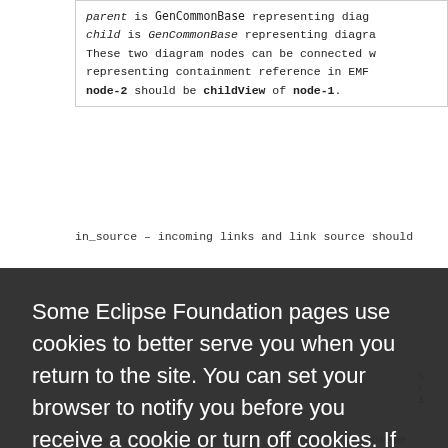parent is GenCommonBase representing diag child is GenCommonBase representing diagra These two diagram nodes can be connected w representing containment reference in EMF node-2 should be childView of node-1.
in_source – incoming links and link source should
Some Eclipse Foundation pages use cookies to better serve you when you return to the site. You can set your browser to notify you before you receive a cookie or turn off cookies. If you do so, however, some areas of some sites may not function properly. To read Eclipse Foundation Privacy Policy click here.
GenNavigatorChildReferences could hold groupName